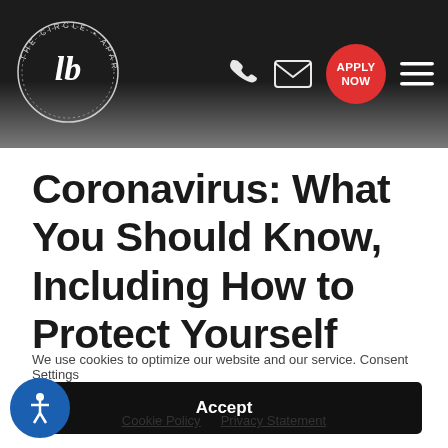[Figure (logo): The Circle Apartments logo — circular badge with stylized 'lb' monogram and text around the edge]
[Figure (infographic): Navigation header icons: phone icon, mail/envelope icon, red circular 'APPLY NOW' button, and hamburger menu icon]
Coronavirus: What You Should Know, Including How to Protect Yourself
We use cookies to optimize our website and our service. Consent Settings
Accept
Cookie Policy   Privacy Statement